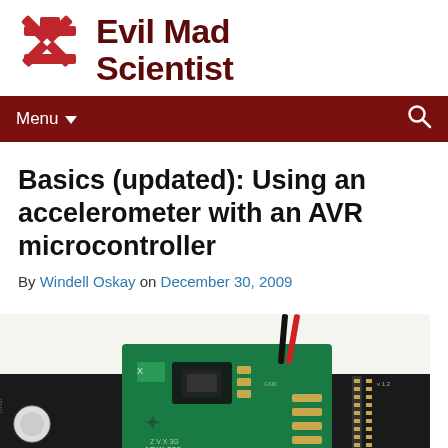Evil Mad Scientist
Basics (updated): Using an accelerometer with an AVR microcontroller
By Windell Oskay on December 30, 2009
[Figure (photo): Close-up photo of an ADXL335 accelerometer breakout board (green PCB) mounted on a black Arduino-compatible board with resistors and pin headers visible.]